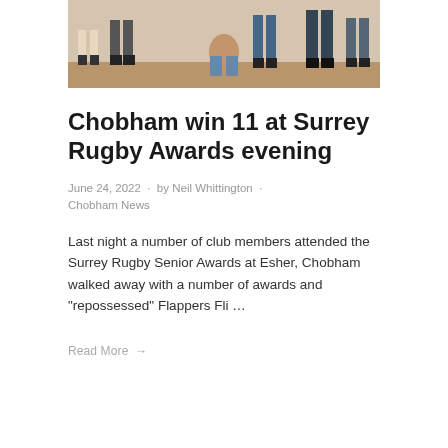[Figure (photo): Group photo of club members at an indoor event, taken from above/side angle showing people standing and posing in casual clothing on a wooden floor.]
Chobham win 11 at Surrey Rugby Awards evening
June 24, 2022 · by Neil Whittington · Chobham News
Last night a number of club members attended the Surrey Rugby Senior Awards at Esher, Chobham walked away with a number of awards and "repossessed" Flappers Fli …
Read More →